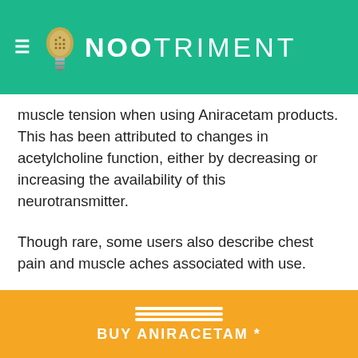≡ NOOTRIMENT
muscle tension when using Aniracetam products. This has been attributed to changes in acetylcholine function, either by decreasing or increasing the availability of this neurotransmitter.
Though rare, some users also describe chest pain and muscle aches associated with use.
Nausea and Stomach Discomfort
Oral consumption of the powder may
BUY ANIRACETAM *